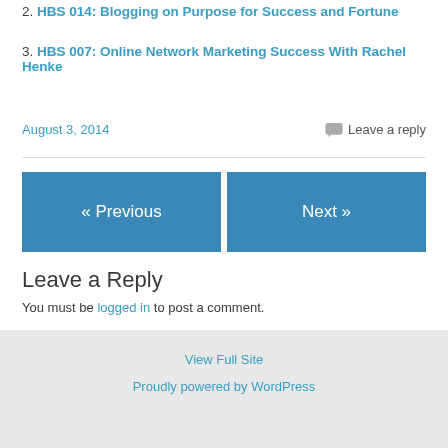2. HBS 014: Blogging on Purpose for Success and Fortune
3. HBS 007: Online Network Marketing Success With Rachel Henke
August 3, 2014    💬 Leave a reply
« Previous    Next »
Leave a Reply
You must be logged in to post a comment.
View Full Site
Proudly powered by WordPress